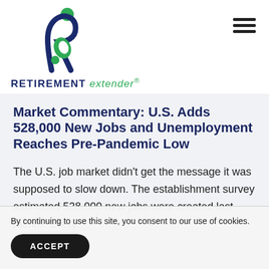[Figure (logo): Retirement Extender logo — stylized 'r' and 'e' letters in dark blue and green, with a green circle above]
RETIREMENT extender®
Market Commentary: U.S. Adds 528,000 New Jobs and Unemployment Reaches Pre-Pandemic Low
The U.S. job market didn't get the message it was supposed to slow down. The establishment survey estimated 528,000 new jobs were created last month. Every
By continuing to use this site, you consent to our use of cookies.
ACCEPT